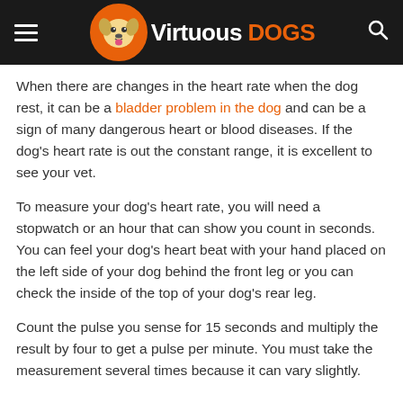Virtuous DOGS
When there are changes in the heart rate when the dog rest, it can be a bladder problem in the dog and can be a sign of many dangerous heart or blood diseases. If the dog's heart rate is out the constant range, it is excellent to see your vet.
To measure your dog's heart rate, you will need a stopwatch or an hour that can show you count in seconds. You can feel your dog's heart beat with your hand placed on the left side of your dog behind the front leg or you can check the inside of the top of your dog's rear leg.
Count the pulse you sense for 15 seconds and multiply the result by four to get a pulse per minute. You must take the measurement several times because it can vary slightly.